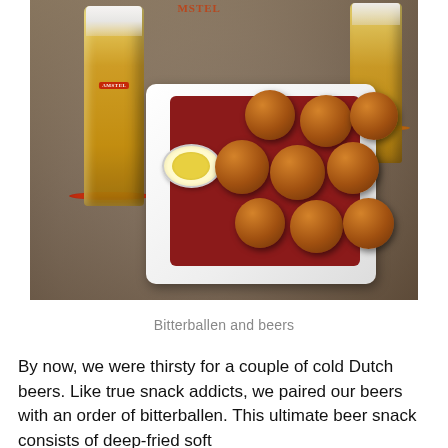[Figure (photo): Photo of bitterballen (deep-fried breaded balls) on a white plate with red napkin and a small bowl of mustard dipping sauce, flanked by two glasses of Amstel beer on a wooden table]
Bitterballen and beers
By now, we were thirsty for a couple of cold Dutch beers. Like true snack addicts, we paired our beers with an order of bitterballen. This ultimate beer snack consists of deep-fried soft